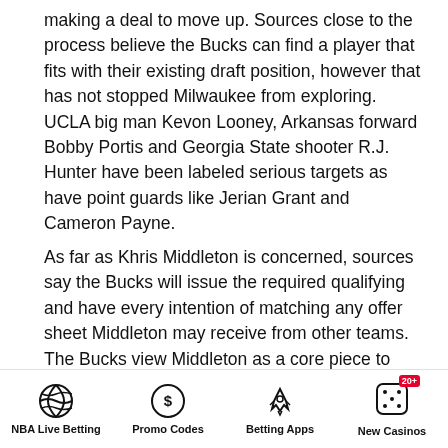making a deal to move up. Sources close to the process believe the Bucks can find a player that fits with their existing draft position, however that has not stopped Milwaukee from exploring. UCLA big man Kevon Looney, Arkansas forward Bobby Portis and Georgia State shooter R.J. Hunter have been labeled serious targets as have point guards like Jerian Grant and Cameron Payne.
As far as Khris Middleton is concerned, sources say the Bucks will issue the required qualifying and have every intention of matching any offer sheet Middleton may receive from other teams. The Bucks view Middleton as a core piece to their success last season and will meet whatever price is necessary to keep him in Milwaukee.
Something that is easy to overlook is the fact that
NBA Live Betting | Promo Codes | Betting Apps | New Casinos